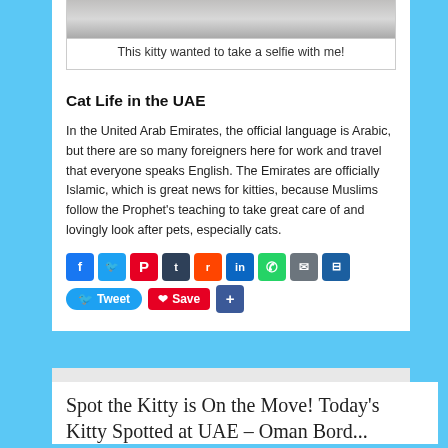[Figure (photo): Partial photo of a cat taking a selfie, shown cropped at top of page]
This kitty wanted to take a selfie with me!
Cat Life in the UAE
In the United Arab Emirates, the official language is Arabic, but there are so many foreigners here for work and travel that everyone speaks English. The Emirates are officially Islamic, which is great news for kitties, because Muslims follow the Prophet's teaching to take great care of and lovingly look after pets, especially cats.
Social sharing icons: Facebook, Twitter, Pinterest, Tumblr, Reddit, LinkedIn, WhatsApp, Email, Print; Tweet button, Save button, Share button
Spot the Kitty is On the Move! Today's Kitty Spotted at UAE – Oman Bord...